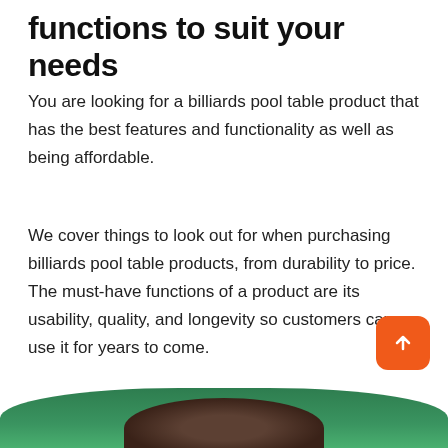functions to suit your needs
You are looking for a billiards pool table product that has the best features and functionality as well as being affordable.
We cover things to look out for when purchasing billiards pool table products, from durability to price. The must-have functions of a product are its usability, quality, and longevity so customers can use it for years to come.
[Figure (photo): Partial view of a green billiards pool table with a dark ball, visible at the bottom of the page]